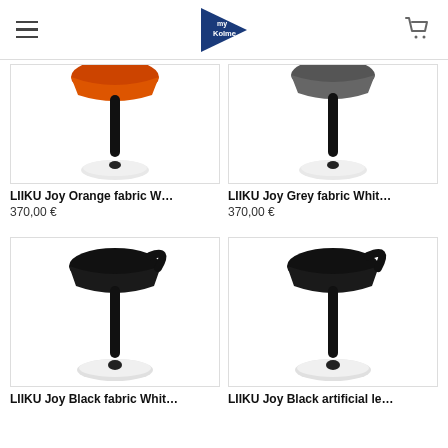Kolme store header with hamburger menu and cart
[Figure (photo): LIIKU Joy stool with orange fabric seat and white round base, black pole]
LIIKU Joy Orange fabric W…
370,00 €
[Figure (photo): LIIKU Joy stool with grey fabric seat and white round base, black pole]
LIIKU Joy Grey fabric Whit…
370,00 €
[Figure (photo): LIIKU Joy stool with black fabric seat and white round base, black pole]
LIIKU Joy Black fabric Whit…
[Figure (photo): LIIKU Joy stool with black artificial leather seat and white round base, black pole]
LIIKU Joy Black artificial le…